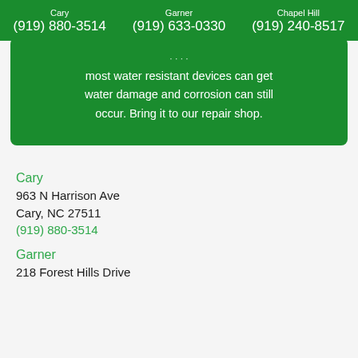Cary (919) 880-3514 | Garner (919) 633-0330 | Chapel Hill (919) 240-8517
most water resistant devices can get water damage and corrosion can still occur. Bring it to our repair shop.
Cary
963 N Harrison Ave
Cary, NC 27511
(919) 880-3514
Garner
218 Forest Hills Drive